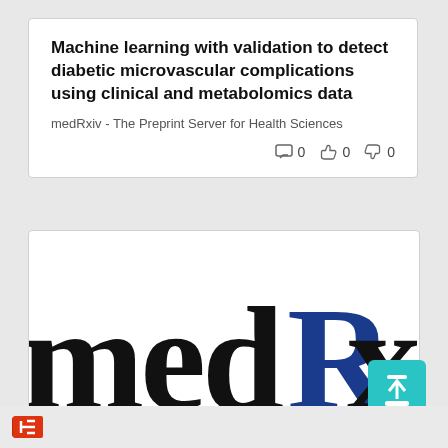Machine learning with validation to detect diabetic microvascular complications using clinical and metabolomics data
medRxiv - The Preprint Server for Health Sciences
[Figure (logo): medRxiv logo with black 'med' text and blue 'Rxiv' text, cropped at bottom of page]